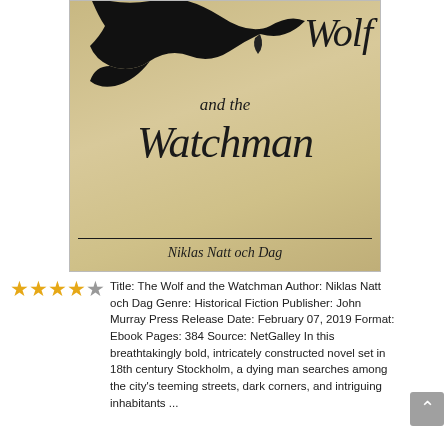[Figure (photo): Book cover of 'The Wolf and the Watchman' by Niklas Natt och Dag. Shows a aged parchment-colored background with a black crow/raven silhouette at the top. The title text is in large italic serif script: 'Wolf and the Watchman' with the author name 'Niklas Natt och Dag' in italic script at the bottom, separated by a horizontal rule.]
Title: The Wolf and the Watchman Author: Niklas Natt och Dag Genre: Historical Fiction Publisher: John Murray Press Release Date: February 07, 2019 Format: Ebook Pages: 384 Source: NetGalley In this breathtakingly bold, intricately constructed novel set in 18th century Stockholm, a dying man searches among the city's teeming streets, dark corners, and intriguing inhabitants ...